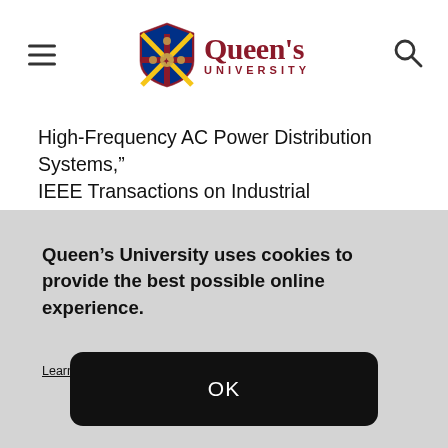Queen's University
High-Frequency AC Power Distribution Systems,” IEEE Transactions on Industrial Electronics, vol. 54,
Queen’s University uses cookies to provide the best possible online experience.

Learn about our privacy practices.

OK